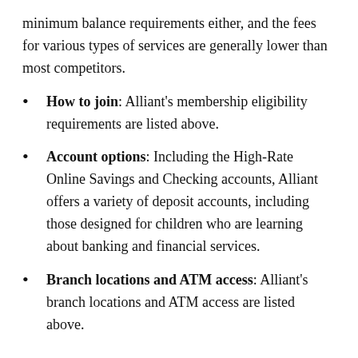minimum balance requirements either, and the fees for various types of services are generally lower than most competitors.
How to join: Alliant’s membership eligibility requirements are listed above.
Account options: Including the High-Rate Online Savings and Checking accounts, Alliant offers a variety of deposit accounts, including those designed for children who are learning about banking and financial services.
Branch locations and ATM access: Alliant’s branch locations and ATM access are listed above.